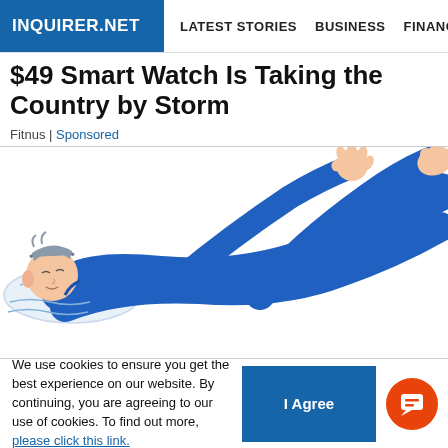INQUIRER.NET | LATEST STORIES | BUSINESS | FINANCE | TECHNOLO
$49 Smart Watch Is Taking the Country by Storm
Fitnus | Sponsored
[Figure (illustration): Cartoon illustration of a person lying down on their back on a pillow, dressed in a blue outfit, with one leg raised and one arm extended upward, appearing to be doing a stretching exercise.]
We use cookies to ensure you get the best experience on our website. By continuing, you are agreeing to our use of cookies. To find out more, please click this link.